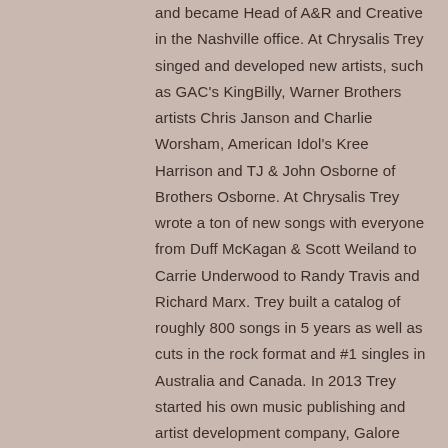and became Head of A&R and Creative in the Nashville office. At Chrysalis Trey singed and developed new artists, such as GAC's KingBilly, Warner Brothers artists Chris Janson and Charlie Worsham, American Idol's Kree Harrison and TJ & John Osborne of Brothers Osborne. At Chrysalis Trey wrote a ton of new songs with everyone from Duff McKagan & Scott Weiland to Carrie Underwood to Randy Travis and Richard Marx. Trey built a catalog of roughly 800 songs in 5 years as well as cuts in the rock format and #1 singles in Australia and Canada. In 2013 Trey started his own music publishing and artist development company, Galore Entertainment. To make a complex story really simple…Trey loves